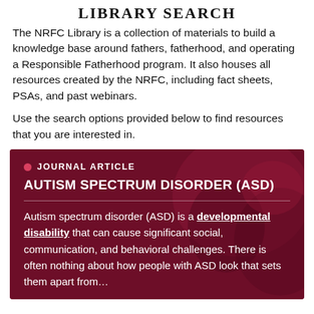LIBRARY SEARCH
The NRFC Library is a collection of materials to build a knowledge base around fathers, fatherhood, and operating a Responsible Fatherhood program. It also houses all resources created by the NRFC, including fact sheets, PSAs, and past webinars.
Use the search options provided below to find resources that you are interested in.
[Figure (infographic): Dark maroon card with background image of people. Contains a journal article entry labeled 'JOURNAL ARTICLE' with title 'AUTISM SPECTRUM DISORDER (ASD)' and excerpt text about ASD being a developmental disability.]
Autism spectrum disorder (ASD) is a developmental disability that can cause significant social, communication, and behavioral challenges. There is often nothing about how people with ASD look that sets them apart from…